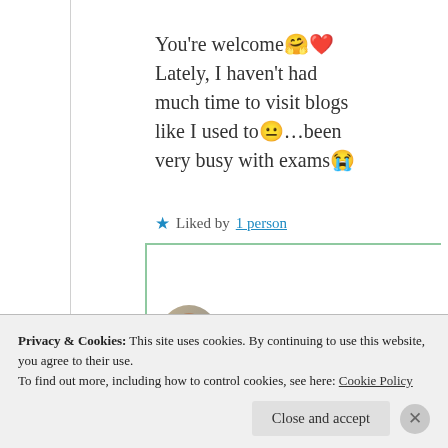You're welcome 🤗❤️ Lately, I haven't had much time to visit blogs like I used to 😐…been very busy with exams 😭
★ Liked by 1 person
Suma Reddy
Privacy & Cookies: This site uses cookies. By continuing to use this website, you agree to their use. To find out more, including how to control cookies, see here: Cookie Policy
Close and accept